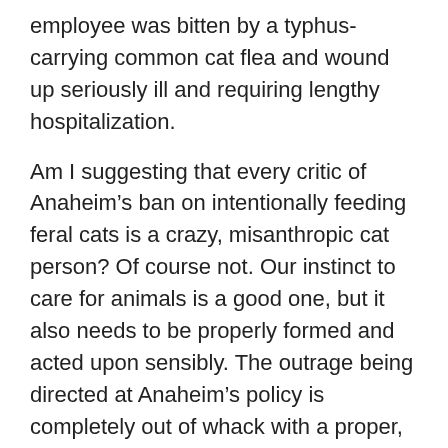employee was bitten by a typhus-carrying common cat flea and wound up seriously ill and requiring lengthy hospitalization.
Am I suggesting that every critic of Anaheim’s ban on intentionally feeding feral cats is a crazy, misanthropic cat person? Of course not. Our instinct to care for animals is a good one, but it also needs to be properly formed and acted upon sensibly. The outrage being directed at Anaheim’s policy is completely out of whack with a proper, common sense concern for the public health. Rather than being defensive about it, the city ought to forthrightly explain that there is a public health risk  associated with feral cats, and that people who intentionally feed and sustain feral cat colonies are potentially endangering the health of their neighbors. Rather than pleading “We don’t hate cats” the city ought to be declaring “We care